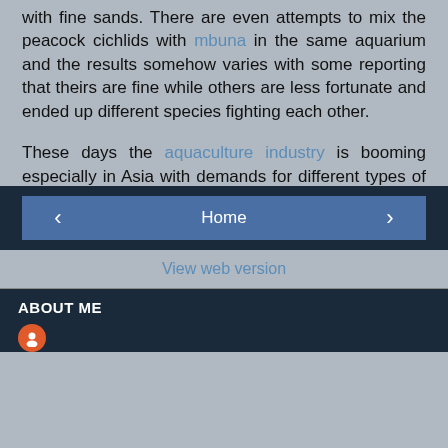with fine sands. There are even attempts to mix the peacock cichlids with mbuna in the same aquarium and the results somehow varies with some reporting that theirs are fine while others are less fortunate and ended up different species fighting each other.
These days the aquaculture industry is booming especially in Asia with demands for different types of cichlids commanding a very good price for a fine specimen. The peacocks fish definitely fit into this criteria as it serves not only just a hobby but also for those with interest to take it further and venture into this field.
Home | View web version | ABOUT ME